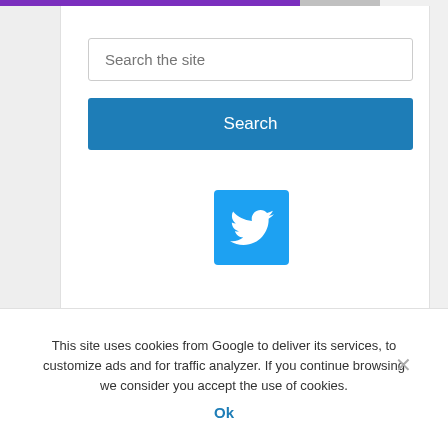[Figure (screenshot): Search input field with placeholder text 'Search the site']
[Figure (screenshot): Blue 'Search' button]
[Figure (logo): Twitter bird logo in a blue square icon]
This site uses cookies from Google to deliver its services, to customize ads and for traffic analyzer. If you continue browsing we consider you accept the use of cookies.
Ok